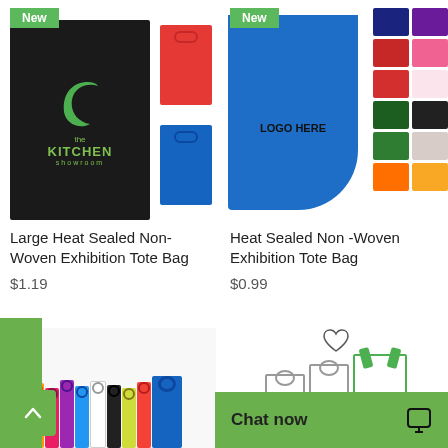[Figure (photo): Large Heat Sealed Non-Woven Exhibition Tote Bag product photo - black bag with kitchen showroom logo, red bag, and blue bag]
Large Heat Sealed Non-Woven Exhibition Tote Bag
$1.19
[Figure (photo): Heat Sealed Non-Woven Exhibition Tote Bag product photo - blue bag with LOGO HERE text, color swatches grid]
Heat Sealed Non -Woven Exhibition Tote Bag
$0.99
[Figure (photo): Bottom left product - colorful non-woven bags in multiple colors]
[Figure (photo): Bottom right product - tote bags with green handles]
Chat now